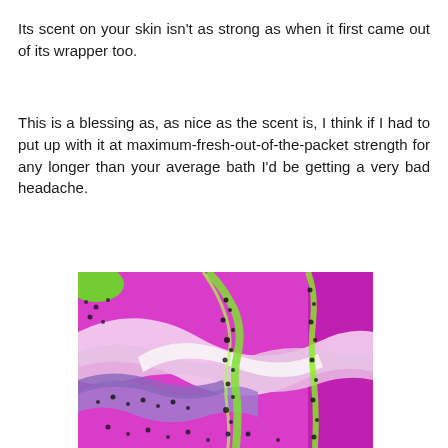Its scent on your skin isn't as strong as when it first came out of its wrapper too.
This is a blessing as, as nice as the scent is, I think if I had to put up with it at maximum-fresh-out-of-the-packet strength for any longer than your average bath I'd be getting a very bad headache.
[Figure (photo): Close-up photo of a colorful bath bomb dissolving in water, showing swirling patterns of pink, purple, green, and white with small dark dots/bubbles scattered throughout.]